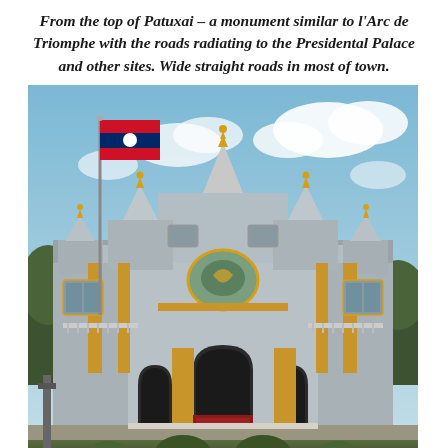From the top of Patuxai – a monument similar to l'Arc de Triomphe with the roads radiating to the Presidental Palace and other sites. Wide straight roads in most of town.
[Figure (photo): A large ornate government palace building with white and grey walls, gold accents on columns and decorations, multiple tiered spires and towers topped with golden finials, a large arched central entrance, and a Lao flag flying from a flagpole on the left side. Blue sky with white clouds in the background, manicured grounds in the foreground.]